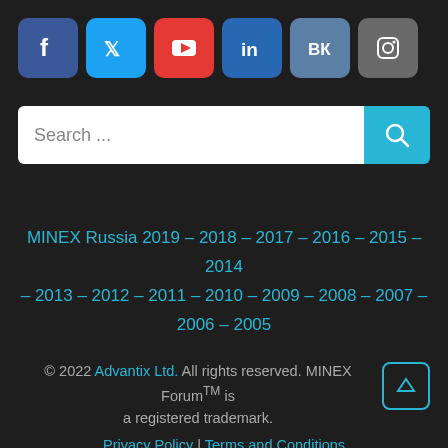[Figure (other): Row of social media icon buttons: Facebook (blue), Twitter (light blue), YouTube (red), LinkedIn (blue), VK (steel blue), Instagram (grey)]
Search ...
MINEX Russia 2019 – 2018 – 2017 – 2016 – 2015 – 2014 – 2013 – 2012 – 2011 – 2010 – 2009 – 2008 – 2007 – 2006 – 2005
© 2022 Advantix Ltd. All rights reserved. MINEX Forum™ is a registered trademark.
Privacy Policy | Terms and Conditions